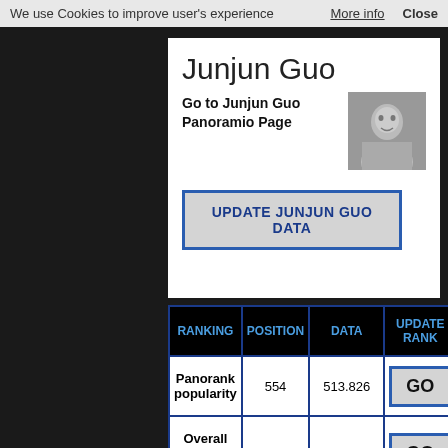We use Cookies to improve user's experience   More info   Close
Junjun Guo
Go to Junjun Guo Panoramio Page
[Figure (photo): Black and white portrait photo of Junjun Guo]
UPDATE JUNJUN GUO DATA
| RANKING | POSITION | DATA | UPDATE RANK |
| --- | --- | --- | --- |
| Panorank popularity | 554 | 513.826 | GO |
| Overall views in total | 425 | 11.090.983 | GO |